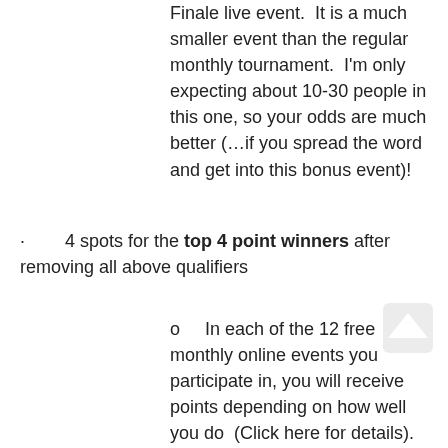Finale live event.  It is a much smaller event than the regular monthly tournament.  I'm only expecting about 10-30 people in this one, so your odds are much better (…if you spread the word and get into this bonus event)!
4 spots for the top 4 point winners after removing all above qualifiers
In each of the 12 free monthly online events you participate in, you will receive points depending on how well you do  (Click here for details).  After removing all those that have already qualified